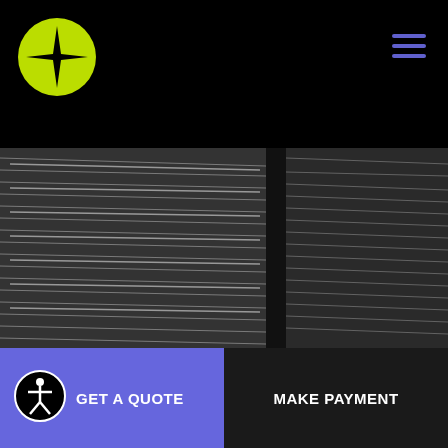[Figure (logo): Yellow-green circle with a black four-pointed star/compass logo in the center]
[Figure (other): Hamburger menu icon with three horizontal purple/blue lines]
[Figure (photo): Black and white blurred motion photo of tall glass office buildings with horizontal line patterns, and a bicycle in the foreground at bottom right]
GET A QUOTE
MAKE PAYMENT